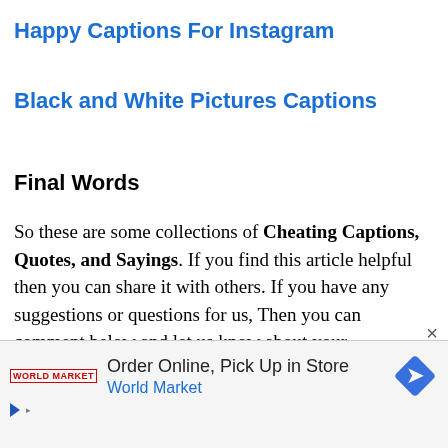Happy Captions For Instagram
Black and White Pictures Captions
Final Words
So these are some collections of Cheating Captions, Quotes, and Sayings. If you find this article helpful then you can share it with others. If you have any suggestions or questions for us, Then you can comment below and let us know about your feedback. Finally, Thank
[Figure (infographic): Advertisement banner for World Market: 'Order Online, Pick Up in Store' with World Market logo, blue diamond navigation icon, and ad indicator triangle.]